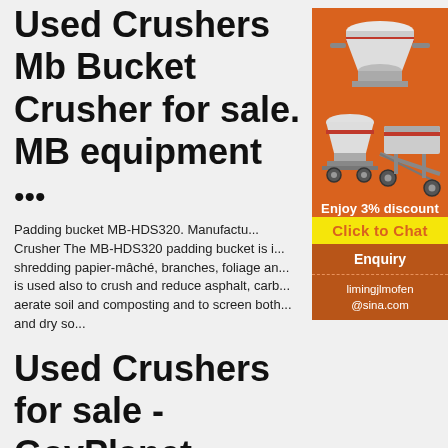Used Crushers Mb Bucket Crusher for sale. MB equipment
...
Padding bucket MB-HDS320. Manufactu... Crusher The MB-HDS320 padding bucket is i... shredding papier-mâché, branches, foliage an... is used also to crush and reduce asphalt, carb... aerate soil and composting and to screen both... and dry so...
Used Crushers for sale - GovPlanet
Used Crushers for sale. Buy and sell used... Crushers from any and all manufacturers, including
[Figure (illustration): Advertisement panel with orange background showing industrial crusher machinery images, 'Enjoy 3% discount', 'Click to Chat' button in yellow, 'Enquiry' section, and email limingjlmofen@sina.com]
Enjoy 3% discount
Click to Chat
Enquiry
limingjlmofen@sina.com